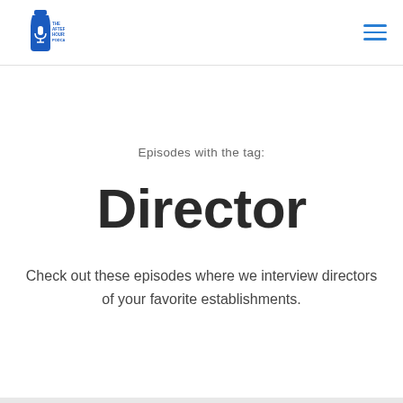[Figure (logo): The Afterhours Podcast logo — a blue wine/liquor bottle silhouette with a microphone icon and the text 'THE AFTERHOURS PODCAST' in blue]
Episodes with the tag:
Director
Check out these episodes where we interview directors of your favorite establishments.